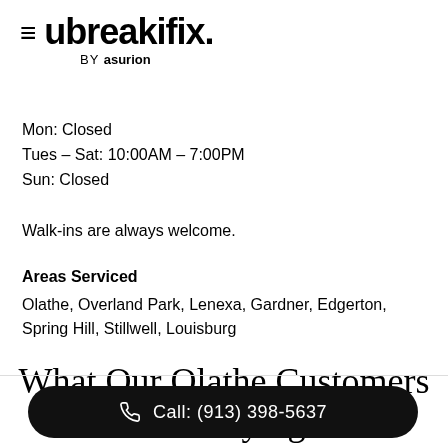[Figure (logo): ubreakifix by asurion logo with hamburger menu icon]
Mon: Closed
Tues – Sat: 10:00AM – 7:00PM
Sun: Closed
Walk-ins are always welcome.
Areas Serviced
Olathe, Overland Park, Lenexa, Gardner, Edgerton, Spring Hill, Stillwell, Louisburg
What Our Olathe Customers Are Saying
Call: (913) 398-5637